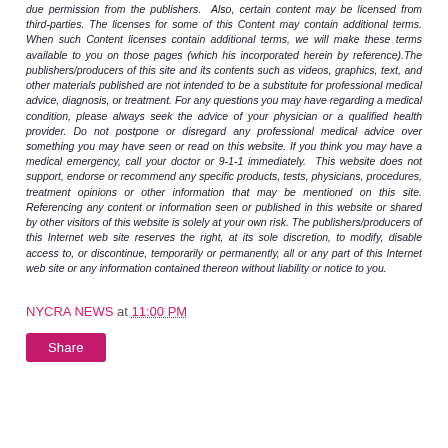due permission from the publishers. Also, certain content may be licensed from third-parties. The licenses for some of this Content may contain additional terms. When such Content licenses contain additional terms, we will make these terms available to you on those pages (which his incorporated herein by reference).The publishers/producers of this site and its contents such as videos, graphics, text, and other materials published are not intended to be a substitute for professional medical advice, diagnosis, or treatment. For any questions you may have regarding a medical condition, please always seek the advice of your physician or a qualified health provider. Do not postpone or disregard any professional medical advice over something you may have seen or read on this website. If you think you may have a medical emergency, call your doctor or 9-1-1 immediately. This website does not support, endorse or recommend any specific products, tests, physicians, procedures, treatment opinions or other information that may be mentioned on this site. Referencing any content or information seen or published in this website or shared by other visitors of this website is solely at your own risk. The publishers/producers of this Internet web site reserves the right, at its sole discretion, to modify, disable access to, or discontinue, temporarily or permanently, all or any part of this Internet web site or any information contained thereon without liability or notice to you.
NYCRA NEWS at 11:00 PM
Share